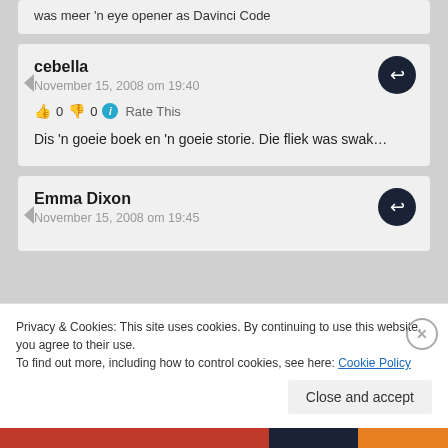was meer 'n eye opener as Davinci Code
cebella
November 15, 2008 om 19:40
👍 0 👎 0 ℹ Rate This
Dis 'n goeie boek en 'n goeie storie. Die fliek was swak...
Emma Dixon
November 15, 2008 om 19:45
Privacy & Cookies: This site uses cookies. By continuing to use this website, you agree to their use.
To find out more, including how to control cookies, see here: Cookie Policy
Close and accept